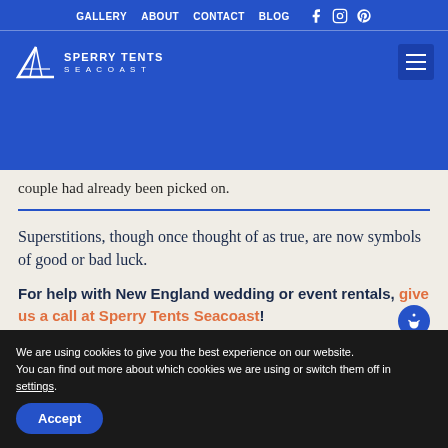GALLERY  ABOUT  CONTACT  BLOG
[Figure (logo): Sperry Tents Seacoast logo with tent icon and navigation hamburger menu]
couple had already been picked on.
Superstitions, though once thought of as true, are now symbols of good or bad luck.
For help with New England wedding or event rentals, give us a call at Sperry Tents Seacoast!
We are using cookies to give you the best experience on our website.
You can find out more about which cookies we are using or switch them off in settings.